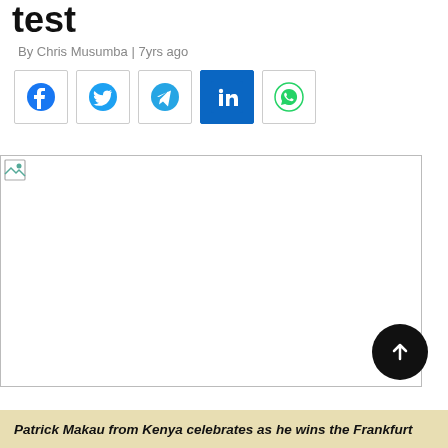test
By Chris Musumba | 7yrs ago
[Figure (other): Social media share icons: Facebook, Twitter, Telegram, LinkedIn, WhatsApp]
[Figure (photo): Broken/unloaded image placeholder]
Patrick Makau from Kenya celebrates as he wins the Frankfurt